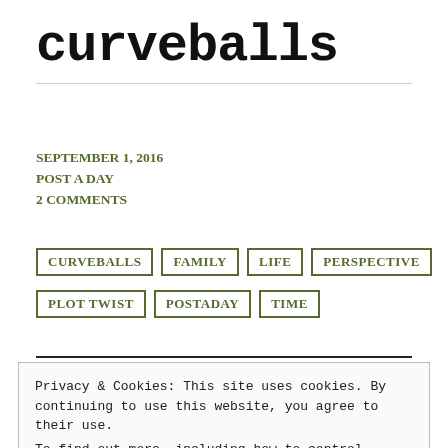curveballs
SEPTEMBER 1, 2016
POST A DAY
2 COMMENTS
CURVEBALLS  FAMILY  LIFE  PERSPECTIVE  PLOT TWIST  POSTADAY  TIME
Privacy & Cookies: This site uses cookies. By continuing to use this website, you agree to their use.
To find out more, including how to control cookies, see here: Cookie Policy
Close and accept